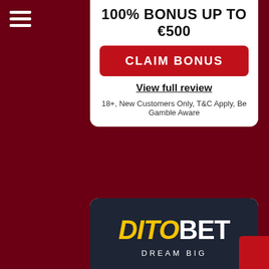[Figure (logo): Hamburger menu icon (three white horizontal lines) on dark red background]
100% BONUS UP TO €500
CLAIM BONUS
View full review
18+, New Customers Only, T&C Apply, Be Gamble Aware
[Figure (logo): DitoBet logo on dark navy background with DITO in yellow italic and BET in white bold, tagline DREAM BIG below]
DitoBet
100% BONUS UP TO €200
CLAIM BONUS